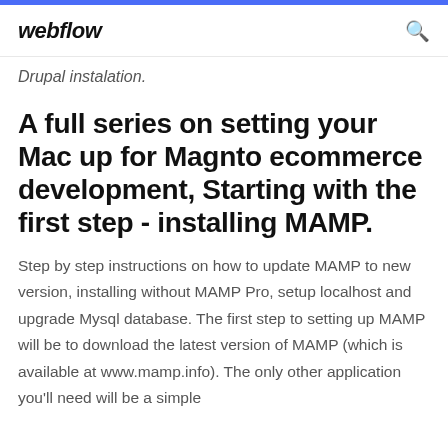webflow
Drupal instalation.
A full series on setting your Mac up for Magnto ecommerce development, Starting with the first step - installing MAMP.
Step by step instructions on how to update MAMP to new version, installing without MAMP Pro, setup localhost and upgrade Mysql database. The first step to setting up MAMP will be to download the latest version of MAMP (which is available at www.mamp.info). The only other application you'll need will be a simple